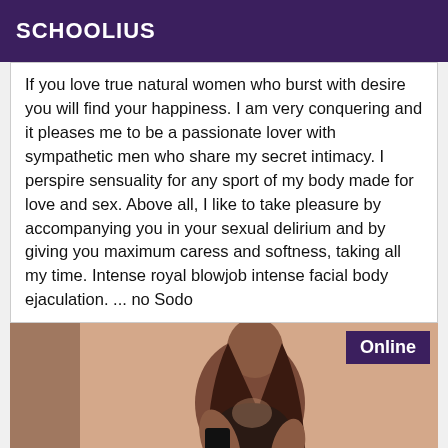SCHOOLIUS
If you love true natural women who burst with desire you will find your happiness. I am very conquering and it pleases me to be a passionate lover with sympathetic men who share my secret intimacy. I perspire sensuality for any sport of my body made for love and sex. Above all, I like to take pleasure by accompanying you in your sexual delirium and by giving you maximum caress and softness, taking all my time. Intense royal blowjob intense facial body ejaculation. ... no Sodo
[Figure (photo): Photo of a woman taking a selfie in a mirror, wearing dark lingerie, with long dark hair. An 'Online' badge appears in the top right corner of the image.]